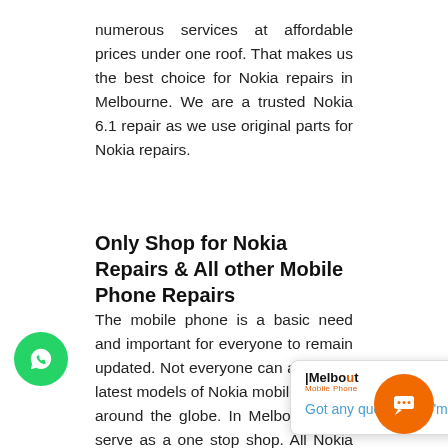numerous services at affordable prices under one roof. That makes us the best choice for Nokia repairs in Melbourne. We are a trusted Nokia 6.1 repair as we use original parts for Nokia repairs.
Only Shop for Nokia Repairs & All other Mobile Phone Repairs
The mobile phone is a basic need and important for everyone to remain updated. Not everyone can afford the latest models of Nokia mobile phones around the globe. In Melbourne, we serve as a one stop shop. All Nokia repairs and other mobile repairs are executed at Nokia repairs Melbourne. We have successfully repair major brands like Huawei, Xiaomi, and
[Figure (screenshot): Chat popup overlay showing Melbourne Mobile Phone logo with text 'Got any questions? I'm happy to help.' in blue, with a close (X) button.]
[Figure (illustration): Green circular WhatsApp button in the bottom-left corner.]
[Figure (illustration): Orange circular chat/support button in the bottom-right corner.]